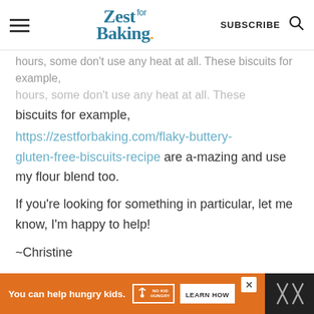[Figure (screenshot): Zest for Baking website header with hamburger menu, logo, Subscribe button, and search icon]
hours, some don't use any heat at all. These biscuits for example,
https://zestforbaking.com/flaky-buttery-gluten-free-biscuits-recipe are a-mazing and use my flour blend too.
If you're looking for something in particular, let me know, I'm happy to help!
~Christine
REPLY
[Figure (infographic): Advertisement banner: orange background, 'You can help hungry kids.' with No Kid Hungry logo and LEARN HOW button; close X button; dark panel on right with X marks]